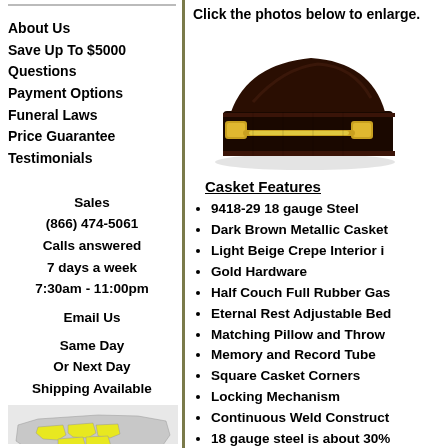About Us
Save Up To $5000
Questions
Payment Options
Funeral Laws
Price Guarantee
Testimonials
Sales
(866) 474-5061
Calls answered
7 days a week
7:30am - 11:00pm
Email Us
Same Day
Or Next Day
Shipping Available
[Figure (map): Map of the United States with some states highlighted in yellow, indicating shipping coverage area.]
Click the photos below to enlarge.
[Figure (photo): Dark brown metallic casket with gold hardware, shown at an angle on white background.]
Casket Features
9418-29 18 gauge Steel
Dark Brown Metallic Casket
Light Beige Crepe Interior i…
Gold Hardware
Half Couch Full Rubber Gas…
Eternal Rest Adjustable Bed…
Matching Pillow and Throw…
Memory and Record Tube
Square Casket Corners
Locking Mechanism
Continuous Weld Construct…
18 gauge steel is about 30%…